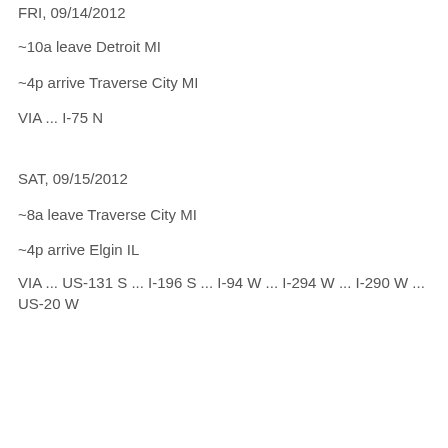FRI, 09/14/2012
~10a leave Detroit MI
~4p arrive Traverse City MI
VIA ... I-75 N
SAT, 09/15/2012
~8a leave Traverse City MI
~4p arrive Elgin IL
VIA ... US-131 S ... I-196 S ... I-94 W ... I-294 W ... I-290 W ... US-20 W